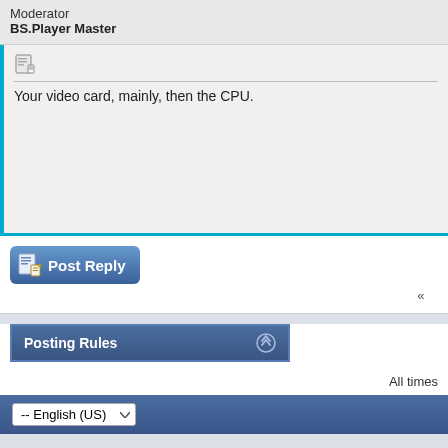Moderator
BS.Player Master
Your video card, mainly, then the CPU.
[Figure (other): Post Reply button with pencil/paper icon]
«
Posting Rules
All times
-- English (US)
Powered by vBulletin® Version 3.8.9
Copyright ©2000 - 2022, vBulletin Solutions, Inc.
Search Engine Optimization by vBSEO 3.6.0 PL2
Ad Management plugin by RedTyger
1 2 3 4 5 6 7 8 9 10 11 12 13 14 15 16 17 18 19 20